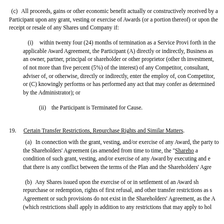(c) All proceeds, gains or other economic benefit actually or constructively received by a Participant upon any grant, vesting or exercise of Awards (or a portion thereof) or upon the receipt or resale of any Shares under the Award shall be paid to the Company if:
(i) within twenty four (24) months of termination as a Service Provider or such other period as set forth in the applicable Award Agreement, the Participant (A) directly or indirectly, engages in any Competitive Business as an owner, partner, principal or shareholder or other proprietor (other than as holder, for passive investment, of not more than five percent (5%) of the interest) of any Competitor, or (B) becomes an employee, consultant, adviser of, or otherwise, directly or indirectly, enter the employ of, contracting with or advising any Competitor, or (C) knowingly performs or has performed any act that may confer a Competitive Business Advantage (as determined by the Administrator); or
(ii) the Participant is Terminated for Cause.
19. Certain Transfer Restrictions, Repurchase Rights and Similar Matters.
(a) In connection with the grant, vesting, and/or exercise of any Award, the Company may require each party to the Shareholders’ Agreement (as amended from time to time, the “Shareholders’ Agreement”) to become a condition of such grant, vesting, and/or exercise of any Award by executing and delivering an amendment, and that there is any conflict between the terms of the Plan and the Shareholders’ Agreement.
(b) Any Shares issued upon the exercise of or in settlement of an Award shall be subject to such repurchase or redemption, rights of first refusal, and other transfer restrictions as set forth in the Shareholders’ Agreement or such provisions do not exist in the Shareholders’ Agreement, as the Administrator may determine (which restrictions shall apply in addition to any restrictions that may apply to holders of Shares generally).
20. Governing Law.